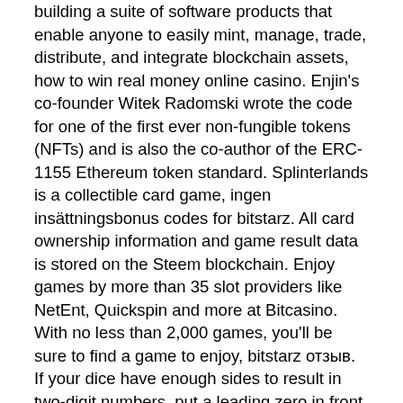building a suite of software products that enable anyone to easily mint, manage, trade, distribute, and integrate blockchain assets, how to win real money online casino. Enjin's co-founder Witek Radomski wrote the code for one of the first ever non-fungible tokens (NFTs) and is also the co-author of the ERC-1155 Ethereum token standard. Splinterlands is a collectible card game, ingen insättningsbonus codes for bitstarz. All card ownership information and game result data is stored on the Steem blockchain. Enjoy games by more than 35 slot providers like NetEnt, Quickspin and more at Bitcasino. With no less than 2,000 games, you'll be sure to find a game to enjoy, bitstarz отзыв. If your dice have enough sides to result in two-digit numbers, put a leading zero in front of single-digit numbers, битстарз регистрация. Then hash your string with a command like echo "32561. The platform has a referral program that grants